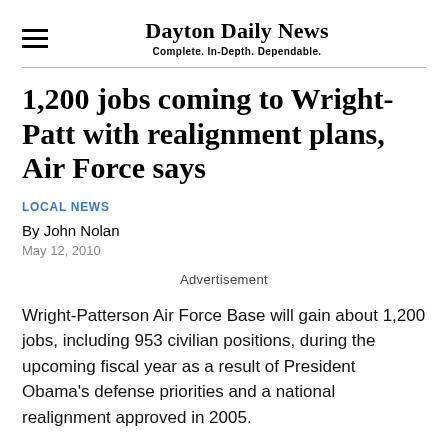Dayton Daily News
Complete. In-Depth. Dependable.
1,200 jobs coming to Wright-Patt with realignment plans, Air Force says
LOCAL NEWS
By John Nolan
May 12, 2010
Advertisement
Wright-Patterson Air Force Base will gain about 1,200 jobs, including 953 civilian positions, during the upcoming fiscal year as a result of President Obama's defense priorities and a national realignment approved in 2005.